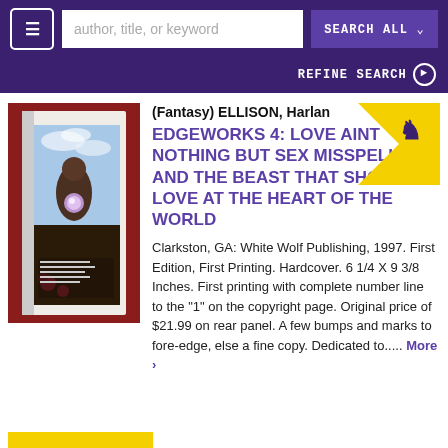≡  author, title, or keyword  SEARCH ALL ▾
REFINE SEARCH ❯
[Figure (photo): Photo of a hardcover book: Edgeworks 4 by Harlan Ellison, with fantasy artwork on the cover showing a figure holding a glowing orb, against a cloudy sky background. Book is displayed upright against a red background.]
(Fantasy) ELLISON, Harlan
EDGEWORKS 4: LOVE AINT NOTHING BUT SEX MISSPELLED, AND THE BEAST THAT SHOUTED LOVE AT THE HEART OF THE WORLD
Clarkston, GA: White Wolf Publishing, 1997. First Edition, First Printing. Hardcover. 6 1/4 X 9 3/8 Inches. First printing with complete number line to the "1" on the copyright page. Original price of $21.99 on rear panel. A few bumps and marks to fore-edge, else a fine copy. Dedicated to.....  More ›